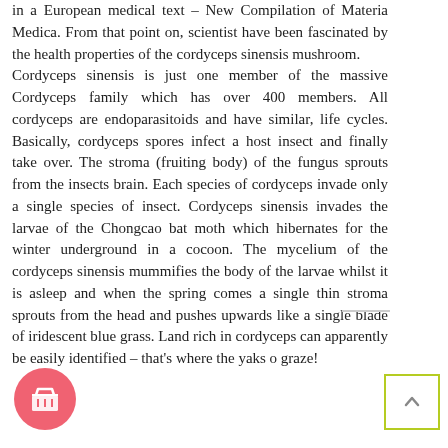in a European medical text – New Compilation of Materia Medica. From that point on, scientist have been fascinated by the health properties of the cordyceps sinensis mushroom. Cordyceps sinensis is just one member of the massive Cordyceps family which has over 400 members. All cordyceps are endoparasitoids and have similar, life cycles. Basically, cordyceps spores infect a host insect and finally take over. The stroma (fruiting body) of the fungus sprouts from the insects brain. Each species of cordyceps invade only a single species of insect. Cordyceps sinensis invades the larvae of the Chongcao bat moth which hibernates for the winter underground in a cocoon. The mycelium of the cordyceps sinensis mummifies the body of the larvae whilst it is asleep and when the spring comes a single thin stroma sprouts from the head and pushes upwards like a single blade of iridescent blue grass. Land rich in cordyceps can apparently be easily identified – that's where the yaks o graze!